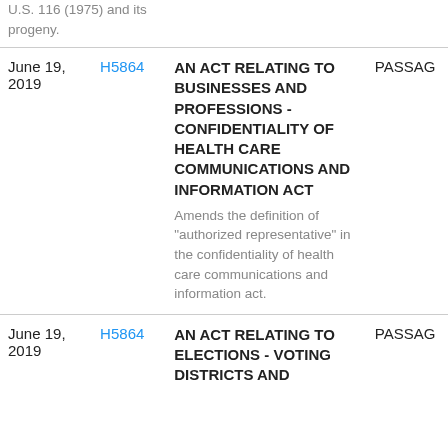U.S. 116 (1975) and its progeny.
| Date | Bill | Title | Status |
| --- | --- | --- | --- |
| June 19, 2019 | H5864 | AN ACT RELATING TO BUSINESSES AND PROFESSIONS - CONFIDENTIALITY OF HEALTH CARE COMMUNICATIONS AND INFORMATION ACT
Amends the definition of "authorized representative" in the confidentiality of health care communications and information act. | PASSAG... |
| June 19, 2019 | H5864 | AN ACT RELATING TO ELECTIONS - VOTING DISTRICTS AND ... | PASSAG... |